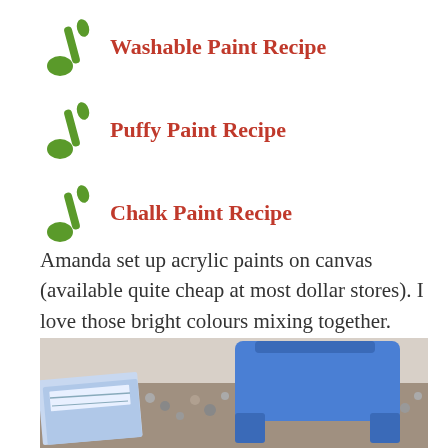Washable Paint Recipe
Puffy Paint Recipe
Chalk Paint Recipe
Amanda set up acrylic paints on canvas (available quite cheap at most dollar stores). I love those bright colours mixing together.
[Figure (photo): Photo of a blue plastic chair on gravel with art supply boxes in the foreground]